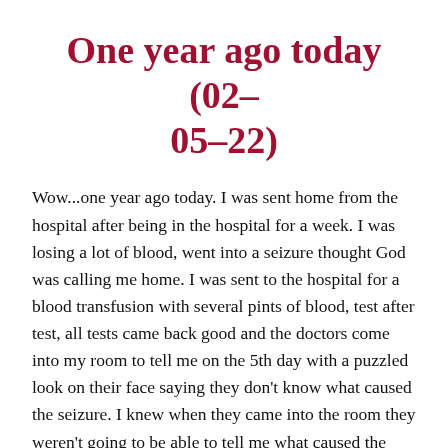One year ago today (02-05-22)
Wow...one year ago today. I was sent home from the hospital after being in the hospital for a week. I was losing a lot of blood, went into a seizure thought God was calling me home. I was sent to the hospital for a blood transfusion with several pints of blood, test after test, all tests came back good and the doctors come into my room to tell me on the 5th day with a puzzled look on their face saying they don't know what caused the seizure. I knew when they came into the room they weren't going to be able to tell me what caused the seizure but me with a smirk on my face saying to them..."oh God don't show up on test." Can I